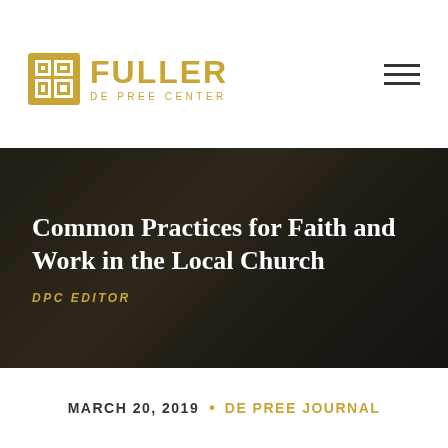[Figure (logo): Fuller De Pree Center logo with golden square icon and text]
[Figure (photo): Dark-toned photo of people sitting with laptops and notebooks, likely in a church or conference setting, serving as hero image background]
Common Practices for Faith and Work in the Local Church
DPC EDITOR
MARCH 20, 2019 • DE PREE JOURNAL